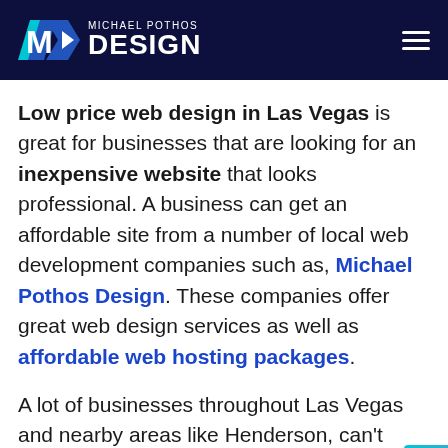MICHAEL POTHOS DESIGN
Low price web design in Las Vegas is great for businesses that are looking for an inexpensive website that looks professional. A business can get an affordable site from a number of local web development companies such as, Michael Pothos Design. These companies offer great web design services as well as affordable web hosting packages.
A lot of businesses throughout Las Vegas and nearby areas like Henderson, can't afford a huge, feature-crazy website. That is